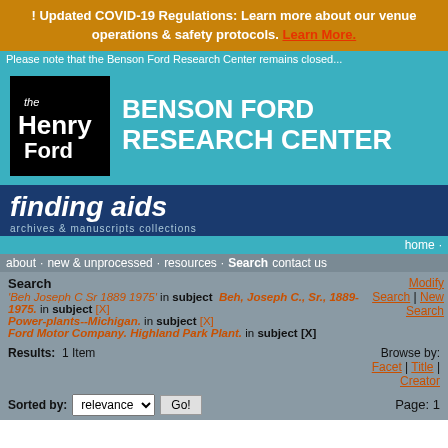! Updated COVID-19 Regulations: Learn more about our venue operations & safety protocols. Learn More.
[Figure (logo): The Henry Ford museum logo - black square with white text 'the Henry Ford']
BENSON FORD RESEARCH CENTER
finding aids
archives & manuscript collections
home · about · new & unprocessed · resources · Search contact us
'Beh Joseph C Sr 1889 1975' in subject  Beh, Joseph C., Sr., 1889-1975. in subject [X] Power-plants--Michigan. in subject [X] Ford Motor Company. Highland Park Plant. in subject [X]
Modify Search | New Search
Results:  1 Item
Browse by: Facet | Title | Creator
Sorted by: relevance
Page: 1